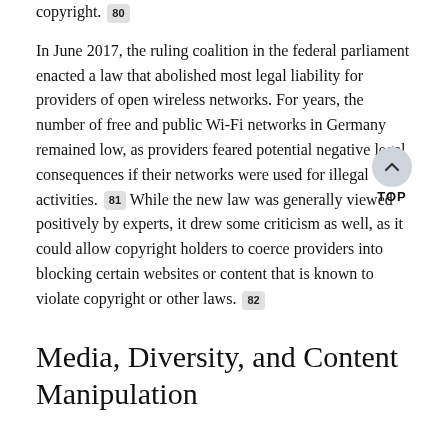content they intend to embed was uploaded in violation of copyright. [80]
In June 2017, the ruling coalition in the federal parliament enacted a law that abolished most legal liability for providers of open wireless networks. For years, the number of free and public Wi-Fi networks in Germany remained low, as providers feared potential negative legal consequences if their networks were used for illegal activities. [81] While the new law was generally viewed positively by experts, it drew some criticism as well, as it could allow copyright holders to coerce providers into blocking certain websites or content that is known to violate copyright or other laws. [82]
Media, Diversity, and Content Manipulation